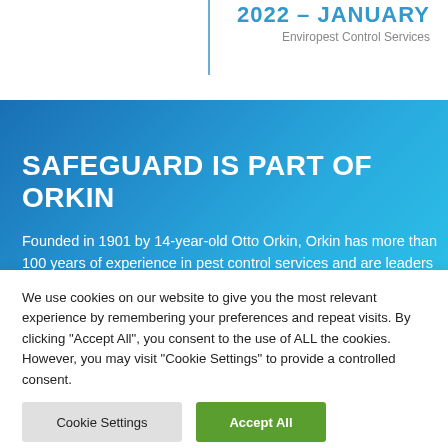2022 – JANUARY
Environpest Control Services
SAFEGUARD IS PART OF ORKIN
Founded in 1901 by 14-year-old Otto Orkin, Orkin has more than 100 years of experience in pest control services and are leaders in the industry, specializing
We use cookies on our website to give you the most relevant experience by remembering your preferences and repeat visits. By clicking "Accept All", you consent to the use of ALL the cookies. However, you may visit "Cookie Settings" to provide a controlled consent.